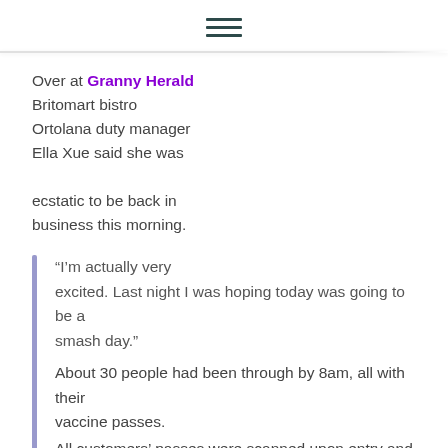≡
Over at Granny Herald Britomart bistro Ortolana duty manager Ella Xue said she was ecstatic to be back in business this morning.
“I’m actually very excited. Last night I was hoping today was going to be a smash day.” About 30 people had been through by 8am, all with their vaccine passes. All customers’ passes were scanned upon entry and no one had expressed any frustration with the process so far, she